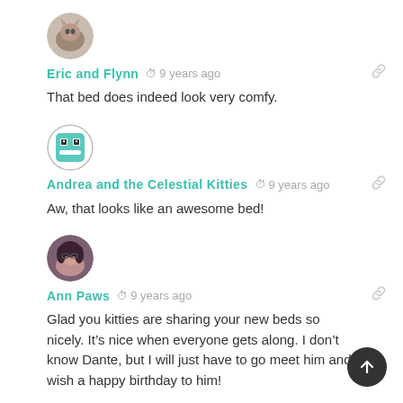[Figure (photo): Avatar of Eric and Flynn - a cat photo in a circle]
Eric and Flynn  9 years ago
That bed does indeed look very comfy.
[Figure (illustration): Avatar of Andrea and the Celestial Kitties - a robot/pixel face icon with teal background]
Andrea and the Celestial Kitties  9 years ago
Aw, that looks like an awesome bed!
[Figure (photo): Avatar of Ann Paws - a woman with glasses and dark hair in a circle]
Ann Paws  9 years ago
Glad you kitties are sharing your new beds so nicely. It’s nice when everyone gets along. I don’t know Dante, but I will just have to go meet him and wish a happy birthday to him!